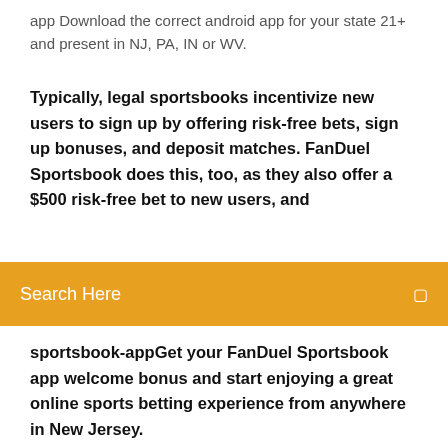app Download the correct android app for your state 21+ and present in NJ, PA, IN or WV.
Typically, legal sportsbooks incentivize new users to sign up by offering risk-free bets, sign up bonuses, and deposit matches. FanDuel Sportsbook does this, too, as they also offer a $500 risk-free bet to new users, and
Search Here
sportsbook-appGet your FanDuel Sportsbook app welcome bonus and start enjoying a great online sports betting experience from anywhere in New Jersey.
Jan 11, 2020 Read on for a more complete review of the FanDuel's PA sportsbook online. You can also download an app for use either on iOS or Android Learn how to download the FanDuel Sportsbook app and how you can earn they've introduced a sportsbook and betting app available in NJ, PA and WV. FanDuel is also available for both iOS and Android users. There are apps for both operating systems, although Android